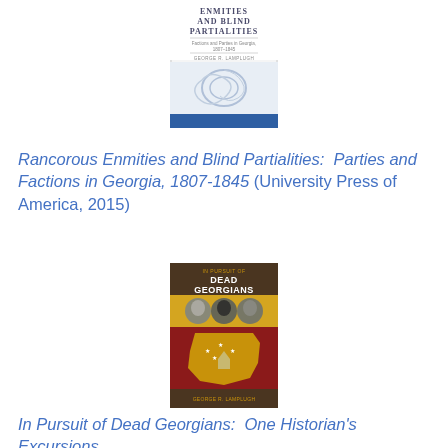[Figure (photo): Book cover of 'Rancorous Enmities and Blind Partialities: Parties and Factions in Georgia, 1807-1845' by George R. Lamplugh, University Press of America, 2015. Cover shows decorative blue swirl design on white background with a blue bar at the bottom.]
Rancorous Enmities and Blind Partialities:  Parties and Factions in Georgia, 1807-1845 (University Press of America, 2015)
[Figure (photo): Book cover of 'In Pursuit of Dead Georgians' by George R. Lamplugh. Cover shows portraits of three historical figures in circular frames above a stylized Georgia state map outline with a capitol dome and Confederate flag colors.]
In Pursuit of Dead Georgians:  One Historian's Excursions